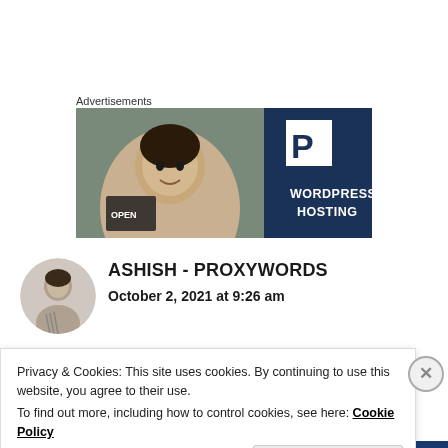Advertisements
[Figure (illustration): WordPress Hosting advertisement banner with a photo of a smiling woman on the left and a dark navy blue background with a white P logo and bold white text 'WORDPRESS HOSTING' on the right]
[Figure (photo): Circular avatar photo of Ashish, a young man in black and white]
ASHISH - PROXYWORDS
October 2, 2021 at 9:26 am
Privacy & Cookies: This site uses cookies. By continuing to use this website, you agree to their use.
To find out more, including how to control cookies, see here: Cookie Policy
Close and accept